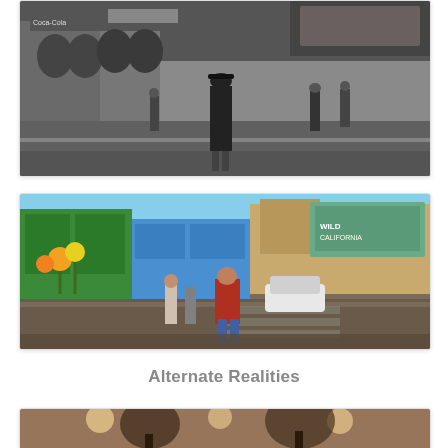[Figure (photo): Black and white photograph of a man in a hat and suit standing in the middle of a city street at night, with storefronts including a Coca-Cola sign visible in the background]
[Figure (photo): Color photograph of a colorful town square or movie set street with brick buildings, a blue-painted storefront, flowers, and a person in a red shirt standing in a wet street. A billboard is visible in the background.]
Alternate Realities
[Figure (photo): Sepia-toned or aged photograph showing a street scene at night with overhead lights and trees visible]